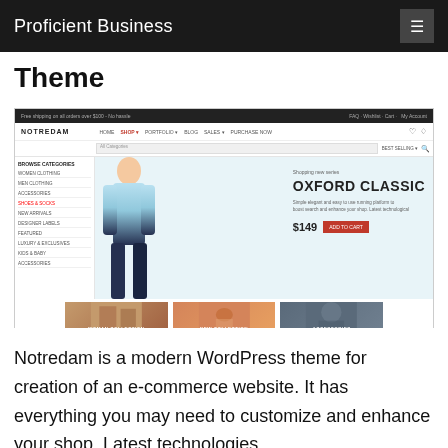Proficient Business
Theme
[Figure (screenshot): Screenshot of the Notredam WordPress e-commerce theme showing a navigation bar with logo, a hero section featuring a man in a light blue shirt with 'Oxford Classic' text and $149 price tag with 'Add to Cart' button, a sidebar with category navigation, and three banner images at the bottom labeled Woman Collection, New Collection, and Accessories.]
Notredam is a modern WordPress theme for creation of an e-commerce website. It has everything you may need to customize and enhance your shop. Latest technologies,